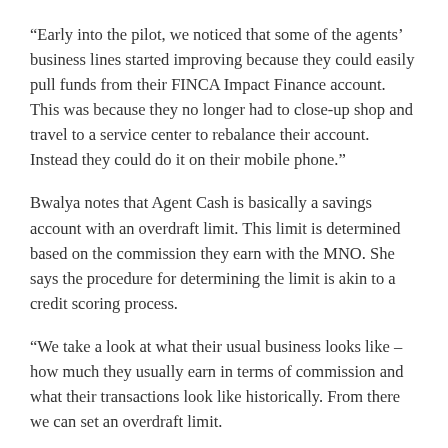“Early into the pilot, we noticed that some of the agents’ business lines started improving because they could easily pull funds from their FINCA Impact Finance account. This was because they no longer had to close-up shop and travel to a service center to rebalance their account. Instead they could do it on their mobile phone.”
Bwalya notes that Agent Cash is basically a savings account with an overdraft limit. This limit is determined based on the commission they earn with the MNO. She says the procedure for determining the limit is akin to a credit scoring process.
“We take a look at what their usual business looks like – how much they usually earn in terms of commission and what their transactions look like historically. From there we can set an overdraft limit.
Bwalya explains that they are still working on the product’s development and that there are still some tweaks and changes